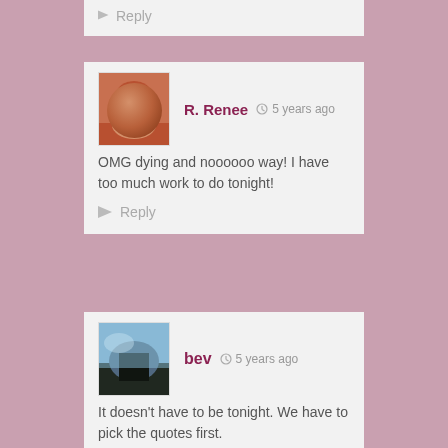Reply
[Figure (photo): Avatar photo of R. Renee showing a woman with reddish-brown hair]
R. Renee  5 years ago
OMG dying and noooooo way! I have too much work to do tonight!
Reply
[Figure (photo): Avatar photo of bev showing a landscape with sky and trees]
bev  5 years ago
It doesn't have to be tonight. We have to pick the quotes first.
Reply